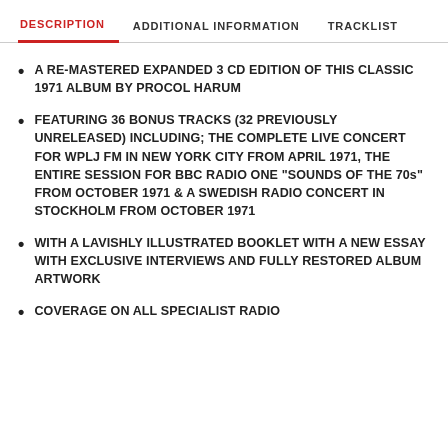DESCRIPTION | ADDITIONAL INFORMATION | TRACKLIST
A RE-MASTERED EXPANDED 3 CD EDITION OF THIS CLASSIC 1971 ALBUM BY PROCOL HARUM
FEATURING 36 BONUS TRACKS (32 PREVIOUSLY UNRELEASED) INCLUDING; THE COMPLETE LIVE CONCERT FOR WPLJ FM IN NEW YORK CITY FROM APRIL 1971, THE ENTIRE SESSION FOR BBC RADIO ONE “SOUNDS OF THE 70s” FROM OCTOBER 1971 & A SWEDISH RADIO CONCERT IN STOCKHOLM FROM OCTOBER 1971
WITH A LAVISHLY ILLUSTRATED BOOKLET WITH A NEW ESSAY WITH EXCLUSIVE INTERVIEWS AND FULLY RESTORED ALBUM ARTWORK
COVERAGE ON ALL SPECIALIST RADIO